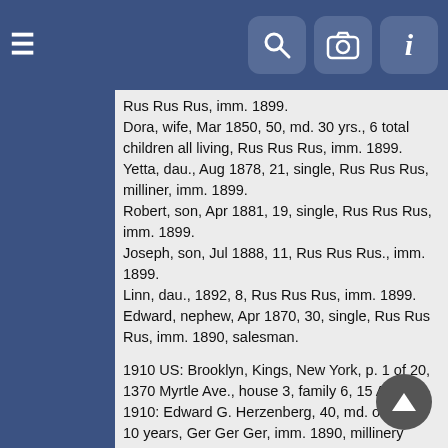Navigation bar with hamburger menu, search, camera, and info icons
Rus Rus Rus, imm. 1899.
Dora, wife, Mar 1850, 50, md. 30 yrs., 6 total children all living, Rus Rus Rus, imm. 1899.
Yetta, dau., Aug 1878, 21, single, Rus Rus Rus, milliner, imm. 1899.
Robert, son, Apr 1881, 19, single, Rus Rus Rus, imm. 1899.
Joseph, son, Jul 1888, 11, Rus Rus Rus., imm. 1899.
Linn, dau., 1892, 8, Rus Rus Rus, imm. 1899.
Edward, nephew, Apr 1870, 30, single, Rus Rus Rus, imm. 1890, salesman.
1910 US: Brooklyn, Kings, New York, p. 1 of 20, 1370 Myrtle Ave., house 3, family 6, 15 Apr 1910: Edward G. Herzenberg, 40, md. once for 10 years, Ger Ger Ger, imm. 1890, millinery shop.
Henrietta, 29, md. once for 10 years, 3 total children all living, Ger Ger Ger, imm. 1890.
William, son, 8, NY Ger Ger.
Sarah, dau., 7, NY Ger Ger.
Arthur, son, 6, NY Ger Ger.
1920 US: Queens, Queens, New York, p. 3 of …, 1736 Myrtle Ave., house 15, family 38:
Edward G. Herzenberg, rents, 51, Russian Jewish, Russian Jewish, Russian Jewish, imm. 1890.